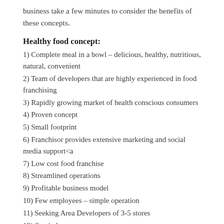business take a few minutes to consider the benefits of these concepts.
Healthy food concept:
1) Complete meal in a bowl – delicious, healthy, nutritious, natural, convenient
2) Team of developers that are highly experienced in food franchising
3) Rapidly growing market of health conscious consumers
4) Proven concept
5) Small footprint
6) Franchisor provides extensive marketing and social media support<a
7) Low cost food franchise
8) Streamlined operations
9) Profitable business model
10) Few employees – simple operation
11) Seeking Area Developers of 3-5 stores
12) Semi-absentee owner
Why I like this concept – I am always looking for a healthy